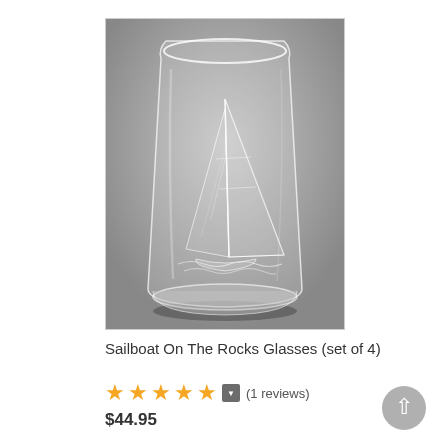[Figure (photo): A clear glass tumbler (rocks glass) with an etched sailboat design on a gray background. The glass is short and wide with a thick base. The sailboat etching shows sails and water waves.]
Sailboat On The Rocks Glasses (set of 4)
★★★★★ ▼ (1 reviews)
$44.95